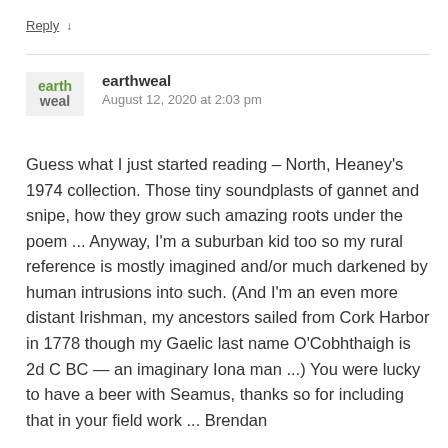Reply ↓
earthweal
August 12, 2020 at 2:03 pm
Guess what I just started reading – North, Heaney's 1974 collection. Those tiny soundplasts of gannet and snipe, how they grow such amazing roots under the poem ... Anyway, I'm a suburban kid too so my rural reference is mostly imagined and/or much darkened by human intrusions into such. (And I'm an even more distant Irishman, my ancestors sailed from Cork Harbor in 1778 though my Gaelic last name O'Cobhthaigh is 2d C BC — an imaginary Iona man ...) You were lucky to have a beer with Seamus, thanks so for including that in your field work ... Brendan